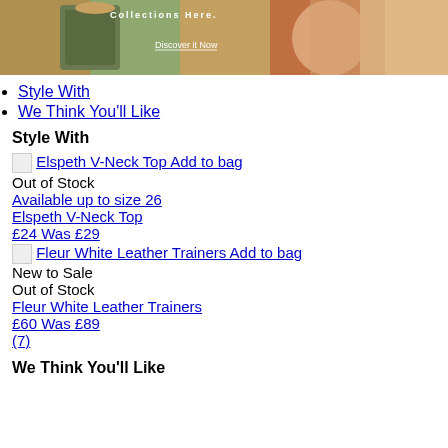[Figure (photo): Fashion banner with women in clothing, text 'Collections Here' and 'Discover it Now' button overlay on colorful background]
Style With
We Think You'll Like
Style With
Elspeth V-Neck Top Add to bag
Out of Stock
Available up to size 26
Elspeth V-Neck Top
£24 Was £29
Fleur White Leather Trainers Add to bag
New to Sale
Out of Stock
Fleur White Leather Trainers
£60 Was £89
(7)
We Think You'll Like